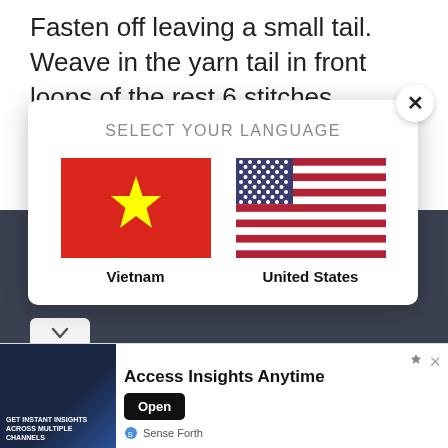Fasten off leaving a small tail. Weave in the yarn tail in front loops of the rest 6 stitches (repeat 1-2 times), then pull to close the hole. Then make a double knot and hide the end.
[Figure (screenshot): Language selection modal dialog with two flag options: Vietnam and United States, with a close (X) button in top right corner]
[Figure (infographic): Advertisement banner: 'Access Insights Anytime' with Open button and Sense Forth branding at bottom]